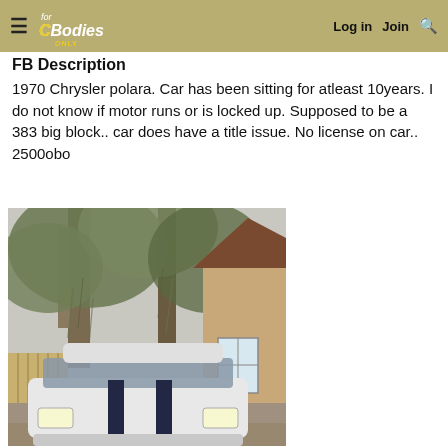For C Bodies Only | Log in | Join
FB Description
1970 Chrysler polara. Car has been sitting for atleast 10years. I do not know if motor runs or is locked up. Supposed to be a 383 big block.. car does have a title issue. No license on car.. 2500obo
[Figure (photo): Front view of a white 1970 Chrysler Polara with dark racing stripes on the hood, parked in a residential driveway. Large moss-covered trees and a house with stucco walls visible in the background.]